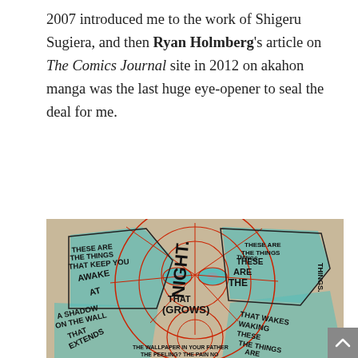2007 introduced me to the work of Shigeru Sugiera, and then Ryan Holmberg's article on The Comics Journal site in 2012 on akahon manga was the last huge eye-opener to seal the deal for me.
[Figure (illustration): An illustrated artwork showing a skull-like figure made of overlapping circles and pentagons with geometric red line patterns. The shapes contain handwritten-style text phrases including: 'THESE ARE THE THINGS THAT KEEP YOU AWAKE AT NIGHT.', 'THESE ARE THE THINGS ARE THESE THINGS', 'THAT GROWS', 'A SHADOW ON THE WALL THAT EXTENDS', 'THAT WAKING THESE THE THINGS ARE', 'THE WALLPAPER IN YOUR FATHER THE PEELING? THE PAIN NO'. The artwork uses teal/cyan, red, tan/beige colors on an aged paper background.]